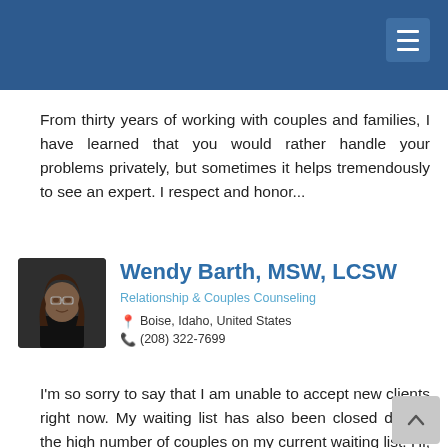From thirty years of working with couples and families, I have learned that you would rather handle your problems privately, but sometimes it helps tremendously to see an expert. I respect and honor...
Wendy Barth, MSW, LCSW
Relationship & Couples Counseling
Boise, Idaho, United States
(208) 322-7699
I'm so sorry to say that I am unable to accept new clients right now. My waiting list has also been closed due to the high number of couples on my current waiting list. Hi, I'm Wendy-a wife...